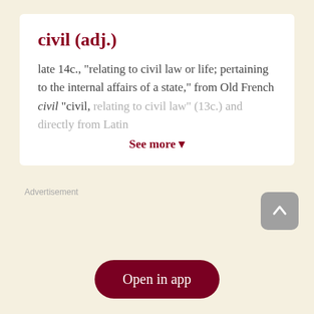civil (adj.)
late 14c., "relating to civil law or life; pertaining to the internal affairs of a state," from Old French civil "civil, relating to civil law" (13c.) and directly from Latin
See more ▼
Advertisement
[Figure (other): Scroll-to-top button with upward arrow icon]
Open in app